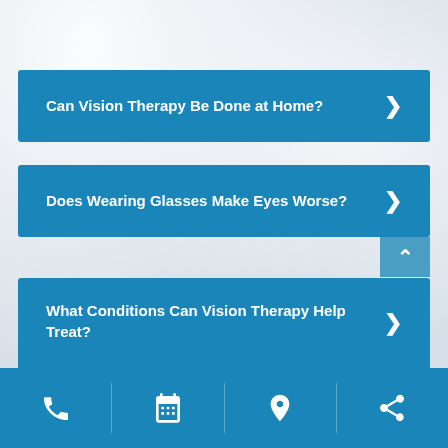Can Vision Therapy Be Done at Home? >
Does Wearing Glasses Make Eyes Worse? >
What Conditions Can Vision Therapy Help Treat? >
Phone | Schedule | Location | Share